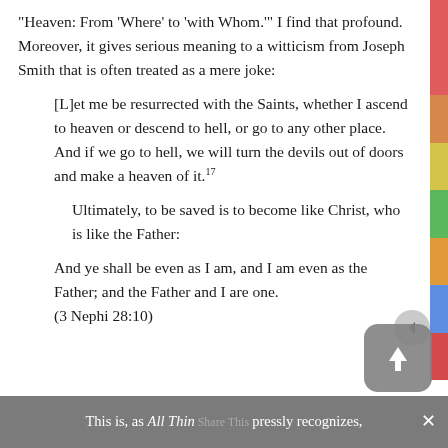“Heaven: From ‘Where’ to ‘with Whom.’” I find that profound. Moreover, it gives serious meaning to a witticism from Joseph Smith that is often treated as a mere joke:
[L]et me be resurrected with the Saints, whether I ascend to heaven or descend to hell, or go to any other place. And if we go to hell, we will turn the devils out of doors and make a heaven of it.¹17
Ultimately, to be saved is to become like Christ, who is like the Father:
And ye shall be even as I am, and I am even as the Father; and the Father and I are one.
(3 Nephi 28:10)
This is, as All Things expressly recognizes,